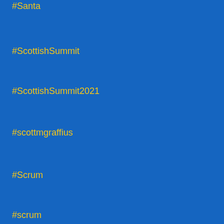#Santa
#ScottishSummit
#ScottishSummit2021
#scottmgraffius
#Scrum
#scrum
#scrum
#Scrum
#ScrumAlliance
#ScrumAlliance